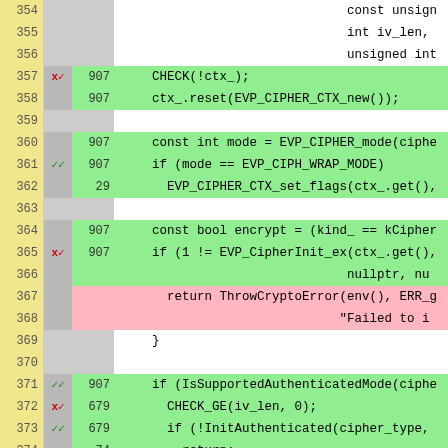[Figure (screenshot): Code coverage diff view showing C++ source lines 354-379 with line numbers, coverage markers (x/ or //), hit counts, and highlighted code. Green background indicates covered lines, pink indicates uncovered. Code shows cipher context initialization including CHECK, ctx_.reset, EVP_CIPHER_mode, EVP_CIPHER_CTX_set_flags, EVP_CipherInit_ex, ThrowCryptoError, IsSupportedAuthenticatedMode, CHECK_GE, InitAuthenticated, EVP_CIPHER_CTX_set_key_length, and THROW_ERR_CRYPTO_INVALID_KEYL.]